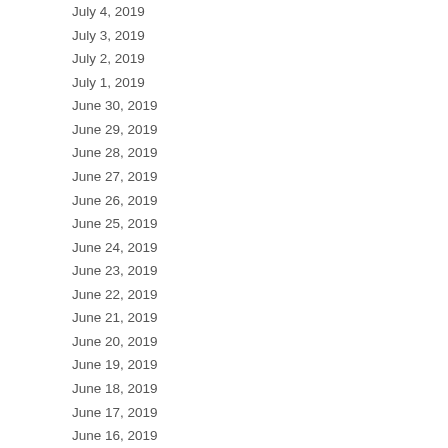| Date | Value |
| --- | --- |
| July 4, 2019 | 0 |
| July 3, 2019 | 1 |
| July 2, 2019 | 0 |
| July 1, 2019 | 0 |
| June 30, 2019 | 0 |
| June 29, 2019 | 0 |
| June 28, 2019 | 1 |
| June 27, 2019 | 1 |
| June 26, 2019 | 0 |
| June 25, 2019 | 0 |
| June 24, 2019 | 1 |
| June 23, 2019 | 1 |
| June 22, 2019 | 1 |
| June 21, 2019 | 1 |
| June 20, 2019 | 0 |
| June 19, 2019 | 2 |
| June 18, 2019 | 0 |
| June 17, 2019 | 1 |
| June 16, 2019 | 0 |
| June 15, 2019 | 0 |
| June 14, 2019 | 1 |
| June 13, 2019 | 1 |
| June 12, 2019 | 0 |